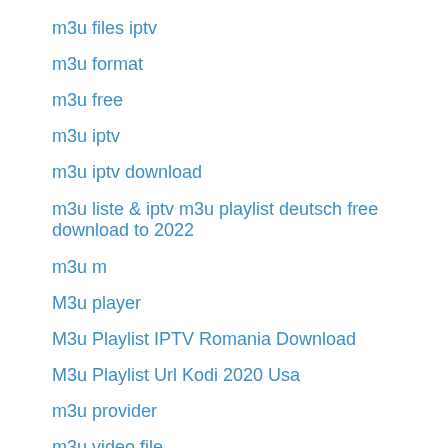m3u files iptv
m3u format
m3u free
m3u iptv
m3u iptv download
m3u liste & iptv m3u playlist deutsch free download to 2022
m3u m
M3u player
M3u Playlist IPTV Romania Download
M3u Playlist Url Kodi 2020 Usa
m3u provider
m3u video file
m3uh